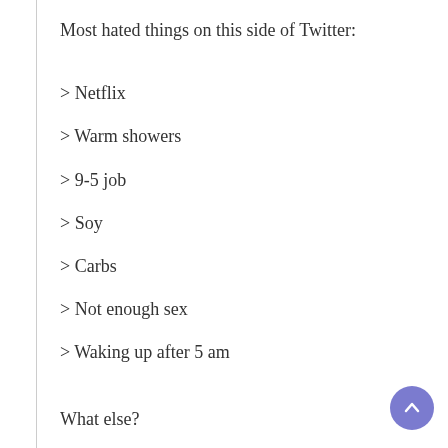Most hated things on this side of Twitter:
> Netflix
> Warm showers
> 9-5 job
> Soy
> Carbs
> Not enough sex
> Waking up after 5 am
What else?